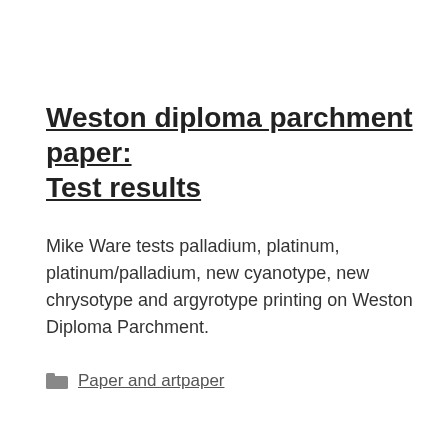Weston diploma parchment paper: Test results
Mike Ware tests palladium, platinum, platinum/palladium, new cyanotype, new chrysotype and argyrotype printing on Weston Diploma Parchment.
Paper and artpaper